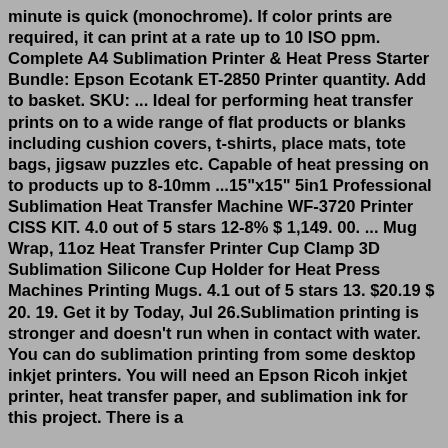minute is quick (monochrome). If color prints are required, it can print at a rate up to 10 ISO ppm. Complete A4 Sublimation Printer & Heat Press Starter Bundle: Epson Ecotank ET-2850 Printer quantity. Add to basket. SKU: ... Ideal for performing heat transfer prints on to a wide range of flat products or blanks including cushion covers, t-shirts, place mats, tote bags, jigsaw puzzles etc. Capable of heat pressing on to products up to 8-10mm ...15"x15" 5in1 Professional Sublimation Heat Transfer Machine WF-3720 Printer CISS KIT. 4.0 out of 5 stars 12-8% $ 1,149. 00. ... Mug Wrap, 11oz Heat Transfer Printer Cup Clamp 3D Sublimation Silicone Cup Holder for Heat Press Machines Printing Mugs. 4.1 out of 5 stars 13. $20.19 $ 20. 19. Get it by Today, Jul 26.Sublimation printing is stronger and doesn't run when in contact with water. You can do sublimation printing from some desktop inkjet printers. You will need an Epson Ricoh inkjet printer, heat transfer paper, and sublimation ink for this project. There is a